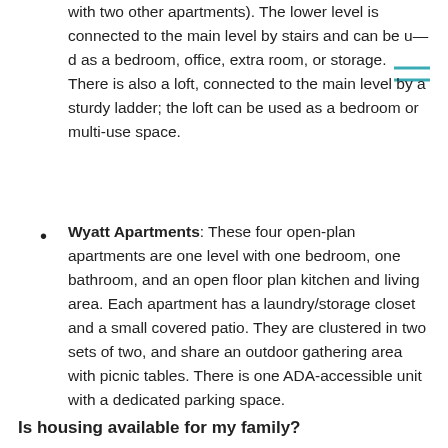with two other apartments). The lower level is connected to the main level by stairs and can be used as a bedroom, office, extra room, or storage. There is also a loft, connected to the main level by a sturdy ladder; the loft can be used as a bedroom or multi-use space.
Wyatt Apartments: These four open-plan apartments are one level with one bedroom, one bathroom, and an open floor plan kitchen and living area. Each apartment has a laundry/storage closet and a small covered patio. They are clustered in two sets of two, and share an outdoor gathering area with picnic tables. There is one ADA-accessible unit with a dedicated parking space.
Is housing available for my family?